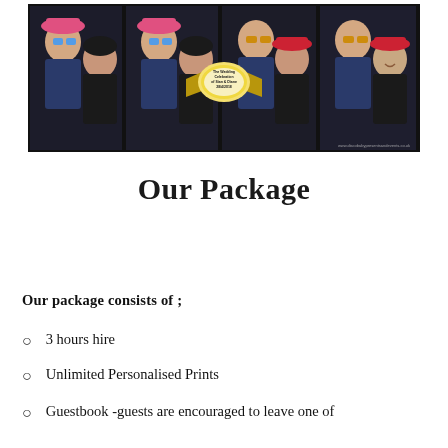[Figure (photo): Photo booth strip showing two people wearing fun accessories like pink hat, red hat, and colorful glasses, posing and smiling. A gold decorative badge in the center reads 'The Wedding Celebration of Sian & Diane 28/4/2018'.]
Our Package
Our package consists of ;
3 hours hire
Unlimited Personalised Prints
Guestbook -guests are encouraged to leave one of